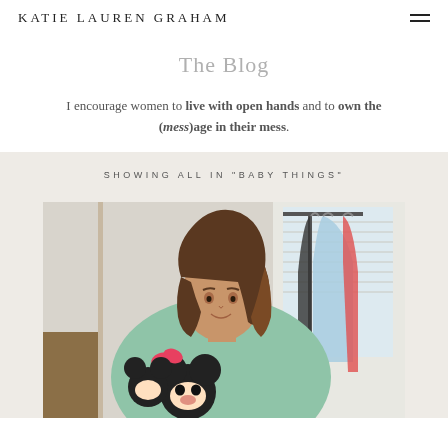KATIE LAUREN GRAHAM
The Blog
I encourage women to live with open hands and to own the (mess)age in their mess.
SHOWING ALL IN "BABY THINGS"
[Figure (photo): A woman with brown hair wearing a mint green hoodie, holding Mickey and Minnie Mouse stuffed animals, with baby clothes on hangers visible to her right.]